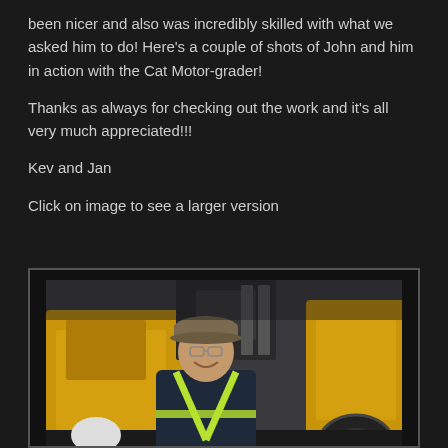been nicer and also was incredibly skilled with what we asked him to do! Here's a couple of shots of John and him in action with the Cat Motor-grader!
Thanks as always for checking out the work and it's all very much appreciated!!!
Kev and Jan
Click on image to see a larger version
[Figure (photo): A man wearing a cap, glasses, and a high-visibility vest smiling in front of yellow construction equipment (Cat Motor-grader)]